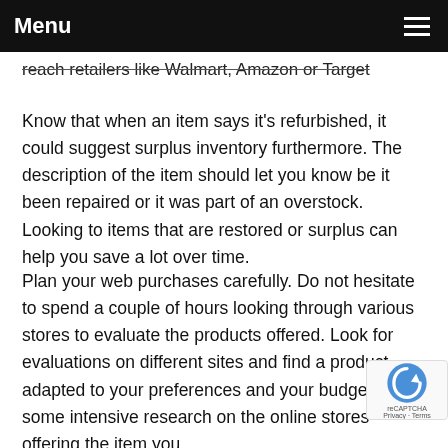Menu
reach retailers like Walmart, Amazon or Target
Know that when an item says it's refurbished, it could suggest surplus inventory furthermore. The description of the item should let you know be it been repaired or it was part of an overstock. Looking to items that are restored or surplus can help you save a lot over time.
Plan your web purchases carefully. Do not hesitate to spend a couple of hours looking through various stores to evaluate the products offered. Look for evaluations on different sites and find a product adapted to your preferences and your budget. Do some intensive research on the online stores offering the item you